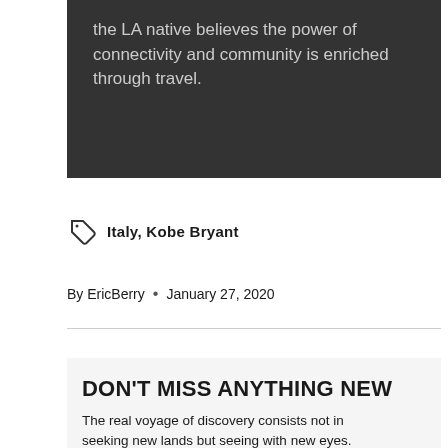the LA native believes the power of connectivity and community is enriched through travel.
Italy, Kobe Bryant
By EricBerry • January 27, 2020
DON'T MISS ANYTHING NEW
The real voyage of discovery consists not in seeking new lands but seeing with new eyes.